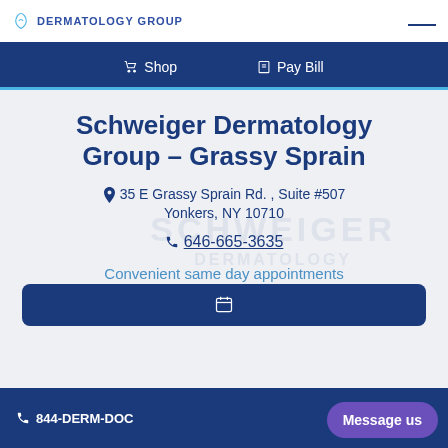DERMATOLOGY GROUP
Shop  Pay Bill
Schweiger Dermatology Group – Grassy Sprain
35 E Grassy Sprain Rd. , Suite #507 Yonkers, NY 10710
646-665-3635
Convenient same day appointments
844-DERM-DOC  646-55...  Message us